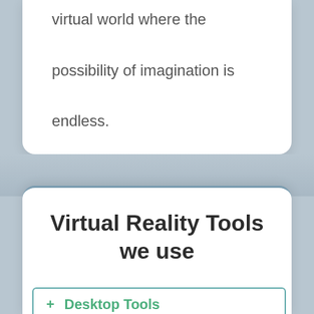virtual world where the possibility of imagination is endless.
Virtual Reality Tools we use
+ Desktop Tools